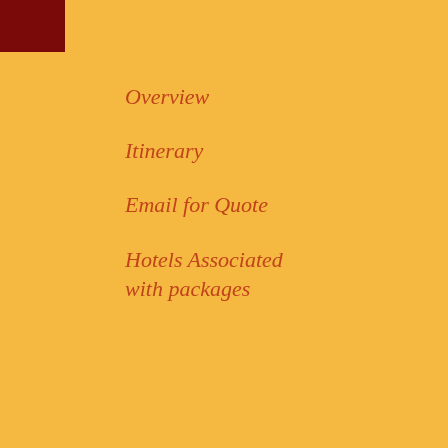Tour Jammu Local with
Vaishno Devi Mandir is one of the Kashmir, India. In Hinduism, Vaish
Daywise Itinerary for Temple Tour
Day 01 – Receive in Jammu - tran darshan at Panchbakhtar Temple, Jammu popularly known as "Chott
Day 02 - Jammu Katra Procced to Service, need to book online), Bh depending on Rush. – Night halt in
Day 03 - Katra Jammu - Transfer to
Overview
Itinerary
Email for Quote
Hotels Associated with packages
To Know More our Website www.indiater website www.blessingsonthenet.c